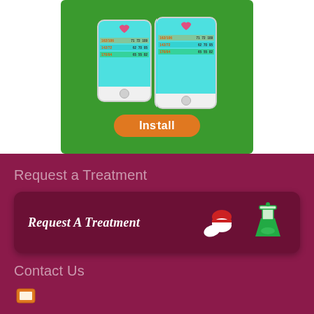[Figure (screenshot): Green background app banner showing two smartphones displaying a blood pressure tracking app with data rows (162/106 71 72 109, 142/72 62 70 95, 170/94 65 55 82) and an orange Install button.]
Request a Treatment
[Figure (illustration): Dark red rounded banner with italic white text 'Request A Treatment' and icons of red/white pills and a green chemistry flask.]
Contact Us